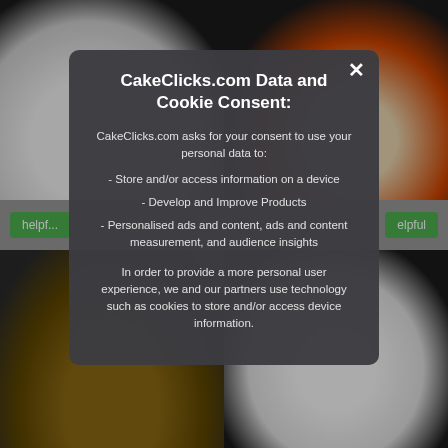[Figure (screenshot): CakeClicks.com website screenshot showing a cookie consent modal dialog overlay on top of a grid of cake images. The background shows four cake photos in a 2x2 grid with 'helpful' tag buttons visible. The foreground shows a dark semi-transparent modal with title 'CakeClicks.com Data and Cookie Consent:' and body text about data usage consent including bullet points about storing device information, developing products, personalised ads, and a paragraph about cookies and partners.]
CakeClicks.com Data and Cookie Consent:
CakeClicks.com asks for your consent to use your personal data to:
- Store and/or access information on a device
- Develop and Improve Products
- Personalised ads and content, ads and content measurement, and audience insights
In order to provide a more personal user experience, we and our partners use technology such as cookies to store and/or access device information.